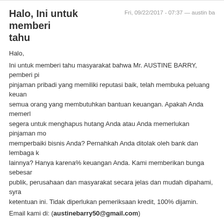Halo, Ini untuk memberi tahu
Fri, 09/22/2017 - 07:37 — austin ba
Halo,
Ini untuk memberi tahu masyarakat bahwa Mr. AUSTINE BARRY, pemberi pi pinjaman pribadi yang memiliki reputasi baik, telah membuka peluang keuan semua orang yang membutuhkan bantuan keuangan. Apakah Anda memerl segera untuk menghapus hutang Anda atau Anda memerlukan pinjaman mo memperbaiki bisnis Anda? Pernahkah Anda ditolak oleh bank dan lembaga k lainnya? Hanya karena% keuangan Anda. Kami memberikan bunga sebesar publik, perusahaan dan masyarakat secara jelas dan mudah dipahami, syra ketentuan ini. Tidak diperlukan pemeriksaan kredit, 100% dijamin.
Email kami di: (austinebarry50@gmail.com)
reply
Apakah Anda memerlukan
Thu, 09/21/2017 - 23:39 — Olson B
Apakah Anda memerlukan pinjaman, apakah Anda memerlukan pinjaman us pribadi?
Apakah Anda ingin membiayai kembali perusahaan Anda?
Kami adalah Perusahaan Keuangan Bersertifikat yang menyetujui dana untu proyek.
Kami memberikan pinjaman kepada setiap individu dan perusahaan dengan bunga 2% Apply Now.via us Email: jolsonfinancialgroup@gmail.com